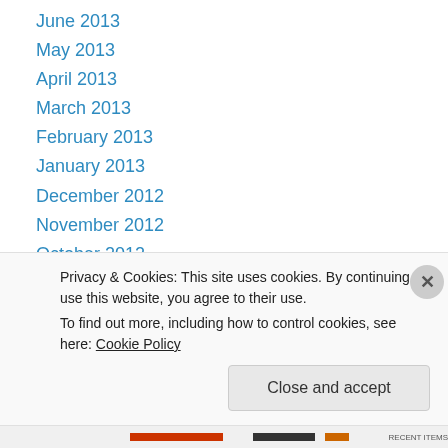June 2013
May 2013
April 2013
March 2013
February 2013
January 2013
December 2012
November 2012
October 2012
September 2012
August 2012
July 2012
June 2012
Privacy & Cookies: This site uses cookies. By continuing to use this website, you agree to their use. To find out more, including how to control cookies, see here: Cookie Policy